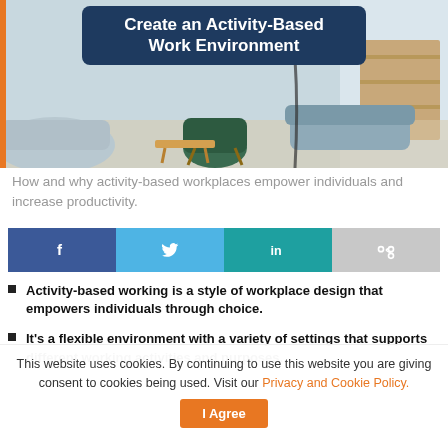[Figure (photo): Office interior with chairs and seating area, with a dark blue rounded rectangle overlay containing the title text 'Create an Activity-Based Work Environment']
Create an Activity-Based Work Environment
How and why activity-based workplaces empower individuals and increase productivity.
[Figure (infographic): Social sharing buttons: Facebook (dark blue), Twitter (light blue), LinkedIn (teal), Share (grey)]
Activity-based working is a style of workplace design that empowers individuals through choice.
It's a flexible environment with a variety of settings that supports different working activities and purposes.
This website uses cookies. By continuing to use this website you are giving consent to cookies being used. Visit our Privacy and Cookie Policy. I Agree